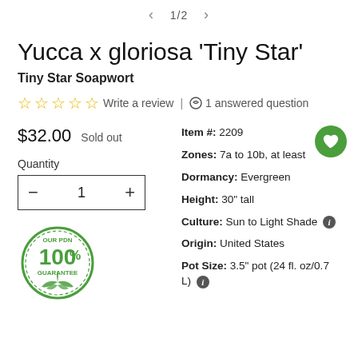< 1/2 >
Yucca x gloriosa 'Tiny Star'
Tiny Star Soapwort
☆☆☆☆☆ Write a review | 💬 1 answered question
$32.00  Sold out
Quantity
Item #: 2209
Zones: 7a to 10b, at least
Dormancy: Evergreen
Height: 30" tall
Culture: Sun to Light Shade ℹ
Origin: United States
Pot Size: 3.5" pot (24 fl. oz/0.7 L) ℹ
[Figure (logo): Green circular badge with text OUR PDN 100% GUARANTEE and leaf decorations at the bottom]